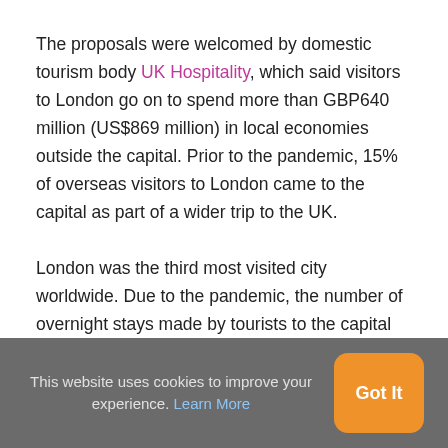The proposals were welcomed by domestic tourism body UK Hospitality, which said visitors to London go on to spend more than GBP640 million (US$869 million) in local economies outside the capital. Prior to the pandemic, 15% of overseas visitors to London came to the capital as part of a wider trip to the UK.
London was the third most visited city worldwide. Due to the pandemic, the number of overnight stays made by tourists to the capital more than halved in 2021 to 60.8 million with a spend of GBP3.8 million (US$5.2 million), compared to 147.4 million overnight visits and GBP18.8 billion (US$25.5 billion) spend in 2019.
This website uses cookies to improve your experience. Learn More